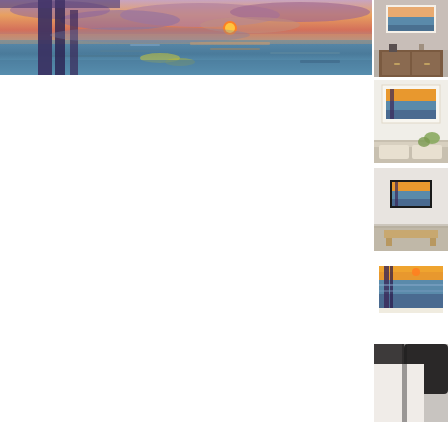[Figure (illustration): Large panoramic watercolor painting of a sunset over water, featuring warm orange and red sky with the sun on the horizon, blue water with reflections, and dark vertical pier posts in the foreground left side.]
[Figure (photo): Thumbnail showing the watercolor artwork in a frame, displayed on a wooden dresser in a room setting.]
[Figure (photo): Thumbnail showing the watercolor artwork framed in white, displayed against a white wall with bedding visible, bedroom setting.]
[Figure (photo): Thumbnail showing the watercolor artwork in a dark frame, hung on a white wall above a bench in a gallery/living room setting.]
[Figure (photo): Thumbnail showing the watercolor artwork in a frame, displayed as a standalone print on white background.]
[Figure (photo): Thumbnail showing partially visible, appears to be a corner or edge of a page/print, dark tones.]